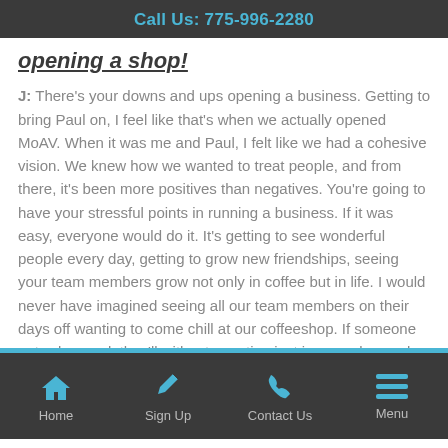Call Us: 775-996-2280
opening a shop!
J: There's your downs and ups opening a business. Getting to bring Paul on, I feel like that's when we actually opened MoAV. When it was me and Paul, I felt like we had a cohesive vision. We knew how we wanted to treat people, and from there, it's been more positives than negatives. You're going to have your stressful points in running a business. If it was easy, everyone would do it. It's getting to see wonderful people every day, getting to grow new friendships, seeing your team members grow not only in coffee but in life. I would never have imagined seeing all our team members on their days off wanting to come chill at our coffeeshop. If someone gets slammed, they'll without question just jump on bar and know that they're ingrained into this culture. It's this amazing shed of light that I never thought I
Home | Sign Up | Contact Us | Menu